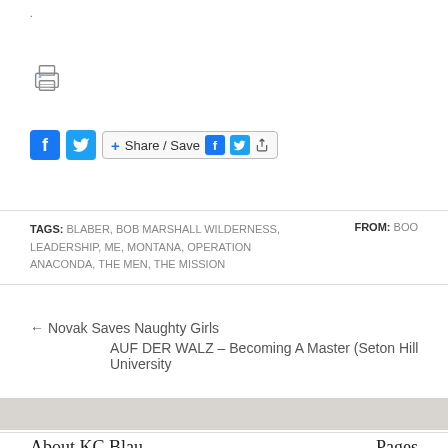.
[Figure (other): Printer icon]
[Figure (other): Social share bar with Facebook, Twitter, and Share/Save button]
TAGS: BLABER, BOB MARSHALL WILDERNESS, LEADERSHIP, ME, MONTANA, OPERATION ANACONDA, THE MEN, THE MISSION    FROM: BOO
← Novak Saves Naughty Girls
AUF DER WALZ – Becoming A Master (Seton Hill University
About KC Blau
Pages
KC Blau is originally a steel city girl who has resided amongst
Blog